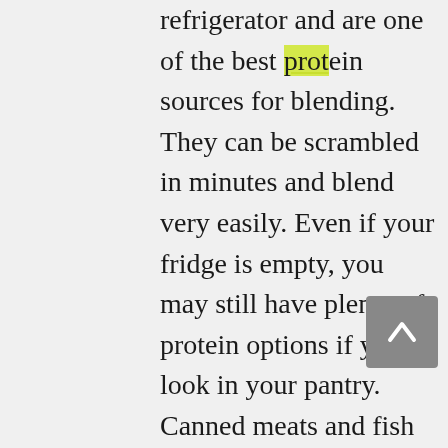refrigerator and are one of the best protein sources for blending. They can be scrambled in minutes and blend very easily. Even if your fridge is empty, you may still have plenty of protein options if you look in your pantry. Canned meats and fish are great for blending. There are also great plant based protein options such as dried lentils. They cook up in less than twenty minutes, are very high in protein and are easy to blend. Dried beans are extremely long lasting but do take quite a bit of time to soak and cook. Canned beans are ready to be used and offer an abundance of plant-based protein. Nuts and seeds are another great source of protein. If you're worried